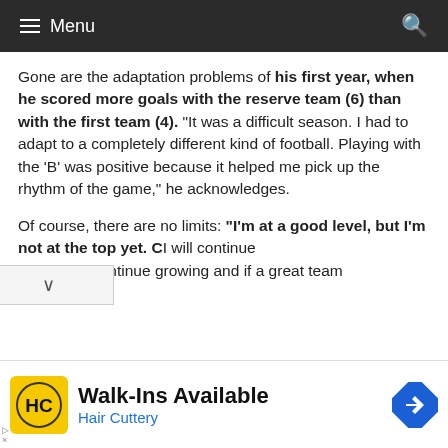Menu
Gone are the adaptation problems of his first year, when he scored more goals with the reserve team (6) than with the first team (4). “It was a difficult season. I had to adapt to a completely different kind of football. Playing with the ‘B’ was positive because it helped me pick up the rhythm of the game,” he acknowledges.
Of course, there are no limits: “I’m at a good level, but I’m not at the top yet. C” I will continue king to continue growing and if a great team
[Figure (other): Advertisement banner: Walk-Ins Available - Hair Cuttery, with HC logo and navigation arrow icon]